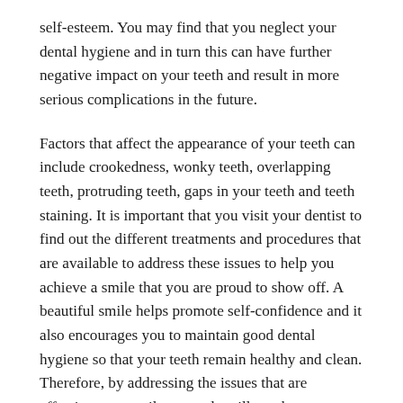self-esteem. You may find that you neglect your dental hygiene and in turn this can have further negative impact on your teeth and result in more serious complications in the future.
Factors that affect the appearance of your teeth can include crookedness, wonky teeth, overlapping teeth, protruding teeth, gaps in your teeth and teeth staining. It is important that you visit your dentist to find out the different treatments and procedures that are available to address these issues to help you achieve a smile that you are proud to show off. A beautiful smile helps promote self-confidence and it also encourages you to maintain good dental hygiene so that your teeth remain healthy and clean. Therefore, by addressing the issues that are affecting your smile, not only will you be improving the aesthetic appearance of your teeth, but you will also be promoting better dental health.